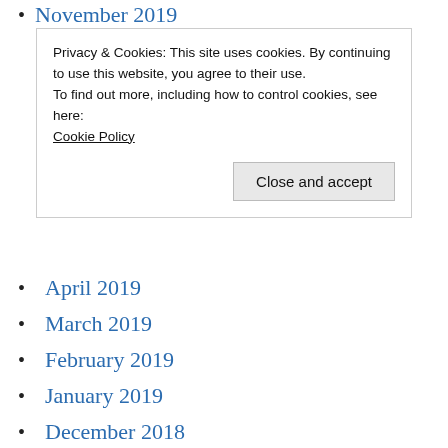November 2019
Privacy & Cookies: This site uses cookies. By continuing to use this website, you agree to their use.
To find out more, including how to control cookies, see here:
Cookie Policy
April 2019
March 2019
February 2019
January 2019
December 2018
November 2018
October 2018
September 2018
August 2018
July 2018
October 2017